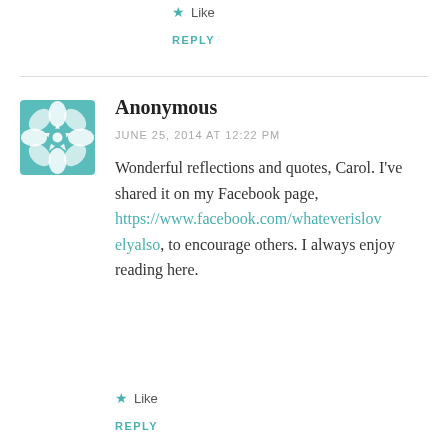★ Like
REPLY
[Figure (illustration): Teal geometric floral avatar icon with diamond and star patterns in a square shape]
Anonymous
JUNE 25, 2014 AT 12:22 PM
Wonderful reflections and quotes, Carol. I've shared it on my Facebook page, https://www.facebook.com/whateverislovelyalso, to encourage others. I always enjoy reading here.
★ Like
REPLY